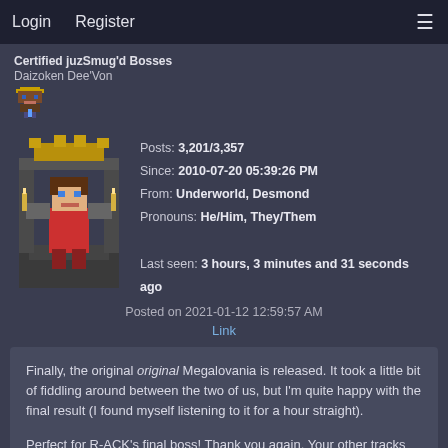Login   Register   ☰
Certified juzSmug'd Bosses
Daizoken Dee'Von
Posts: 3,201/3,357
Since: 2010-07-20 05:39:26 PM
From: Underworld, Desmond
Pronouns: He/Him, They/Them
Last seen: 3 hours, 3 minutes and 31 seconds ago
Posted on 2021-01-12 12:59:57 AM
Link
Finally, the original original Megalovania is released. It took a little bit of fiddling around between the two of us, but I'm quite happy with the final result (I found myself listening to it for a hour straight).

Perfect for R-ACK's final boss! Thank you again. Your other tracks are also just as excellent.